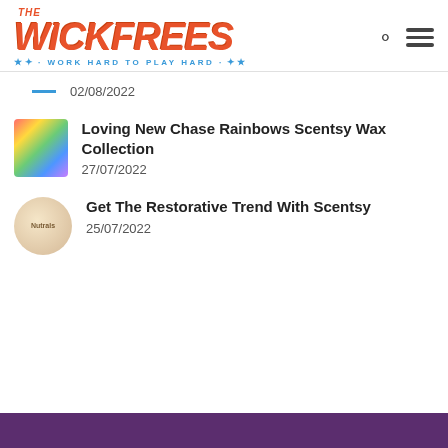[Figure (logo): The Wickfrees logo - orange italic text with tagline 'WORK HARD TO PLAY HARD' in blue]
02/08/2022
Loving New Chase Rainbows Scentsy Wax Collection
27/07/2022
Get The Restorative Trend With Scentsy
25/07/2022